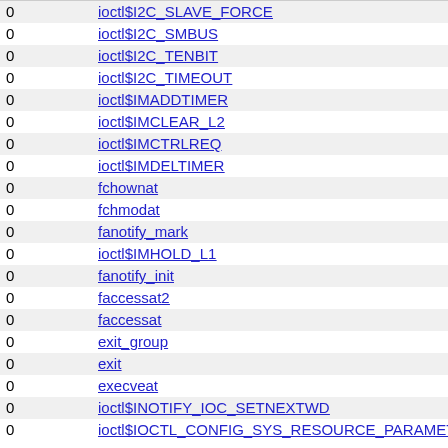|  |  |
| --- | --- |
| 0 | ioctl$I2C_SLAVE_FORCE |
| 0 | ioctl$I2C_SMBUS |
| 0 | ioctl$I2C_TENBIT |
| 0 | ioctl$I2C_TIMEOUT |
| 0 | ioctl$IMADDTIMER |
| 0 | ioctl$IMCLEAR_L2 |
| 0 | ioctl$IMCTRLREQ |
| 0 | ioctl$IMDELTIMER |
| 0 | fchownat |
| 0 | fchmodat |
| 0 | fanotify_mark |
| 0 | ioctl$IMHOLD_L1 |
| 0 | fanotify_init |
| 0 | faccessat2 |
| 0 | faccessat |
| 0 | exit_group |
| 0 | exit |
| 0 | execveat |
| 0 | ioctl$INOTIFY_IOC_SETNEXTWD |
| 0 | ioctl$IOCTL_CONFIG_SYS_RESOURCE_PARAMETER |